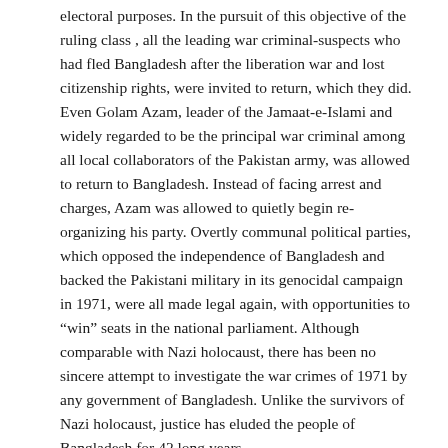electoral purposes. In the pursuit of this objective of the ruling class , all the leading war criminal-suspects who had fled Bangladesh after the liberation war and lost citizenship rights, were invited to return, which they did. Even Golam Azam, leader of the Jamaat-e-Islami and widely regarded to be the principal war criminal among all local collaborators of the Pakistan army, was allowed to return to Bangladesh. Instead of facing arrest and charges, Azam was allowed to quietly begin re-organizing his party. Overtly communal political parties, which opposed the independence of Bangladesh and backed the Pakistani military in its genocidal campaign in 1971, were all made legal again, with opportunities to “win” seats in the national parliament. Although comparable with Nazi holocaust, there has been no sincere attempt to investigate the war crimes of 1971 by any government of Bangladesh. Unlike the survivors of Nazi holocaust, justice has eluded the people of Bangladesh for 42 long years.